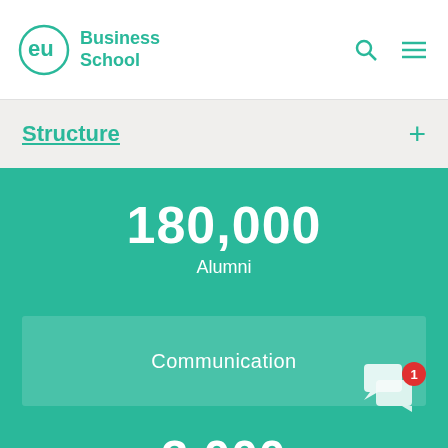EU Business School
Structure
180,000 Alumni
Communication
3,000 Experts